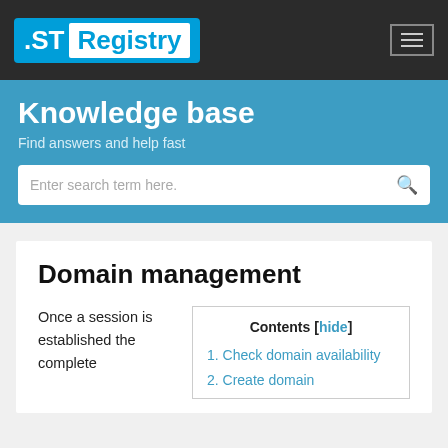.ST Registry
Knowledge base
Find answers and help fast
Enter search term here.
Domain management
Once a session is established the complete
| Contents [hide] |
| --- |
| 1. Check domain availability |
| 2. Create domain |